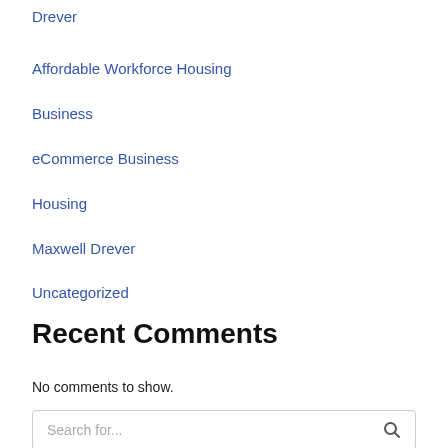Drever
Affordable Workforce Housing
Business
eCommerce Business
Housing
Maxwell Drever
Uncategorized
Recent Comments
No comments to show.
Search for...